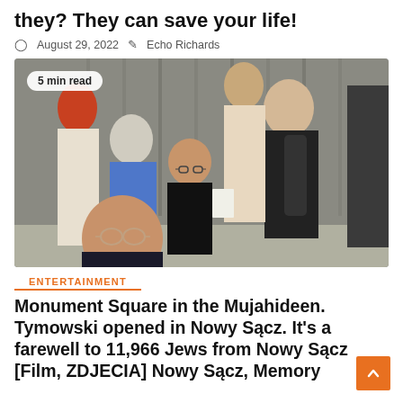they? They can save your life!
August 29, 2022  Echo Richards
[Figure (photo): Group of people, including women with red hair and grey hair, standing near corrugated metal wall. A woman with glasses and dark hair is in the foreground. Badge reads '5 min read'.]
ENTERTAINMENT
Monument Square in the Mujahideen. Tymowski opened in Nowy Sącz. It's a farewell to 11,966 Jews from Nowy Sącz [Film, ZDJECIA] Nowy Sącz, Memory